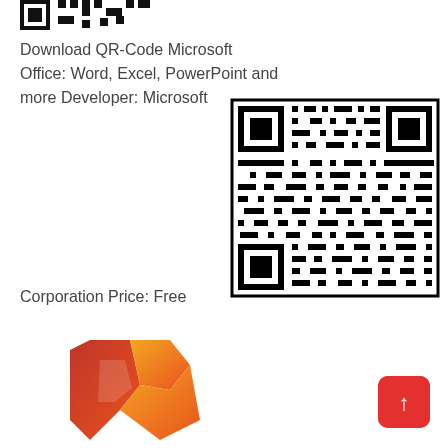[Figure (other): Partial QR code / logo image cropped at top]
Download QR-Code Microsoft Office: Word, Excel, PowerPoint and more Developer: Microsoft
[Figure (other): QR code for downloading Microsoft Office]
Corporation Price: Free
[Figure (logo): Microsoft Office logo - stylized letter M in red, orange, pink gradient]
[Figure (other): Red rounded square button with upward arrow]